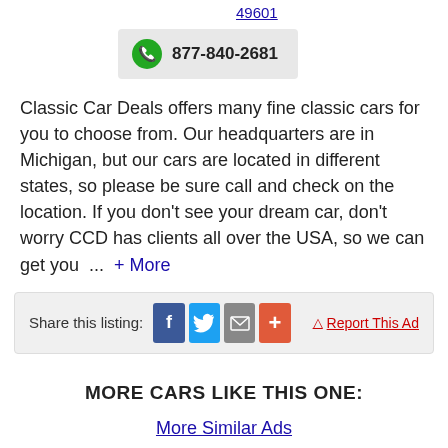49601
877-840-2681
Classic Car Deals offers many fine classic cars for you to choose from. Our headquarters are in Michigan, but our cars are located in different states, so please be sure call and check on the location. If you don't see your dream car, don't worry CCD has clients all over the USA, so we can get you ... + More
Share this listing:
Report This Ad
MORE CARS LIKE THIS ONE:
More Similar Ads
[Figure (photo): Car photo strip showing two classic cars]